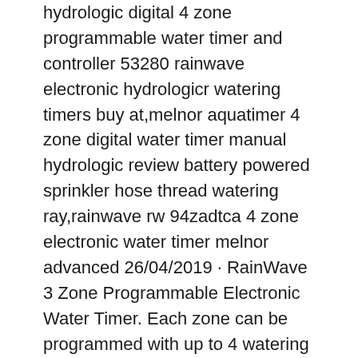hydrologic digital 4 zone programmable water timer and controller 53280 rainwave electronic hydrologicr watering timers buy at,melnor aquatimer 4 zone digital water timer manual hydrologic review battery powered sprinkler hose thread watering ray,rainwave rw 94zadtca 4 zone electronic water timer melnor advanced 26/04/2019 · RainWave 3 Zone Programmable Electronic Water Timer. Each zone can be programmed with up to 4 watering cycles for a total of 12 cycles. Each zone can be programmed with up to 4 watering cycles for a total of 12 cycles.
Pushing to confirm. It will automatically set water day for every 3 days. Battery Installation Control Unit Programming Pushing to move the